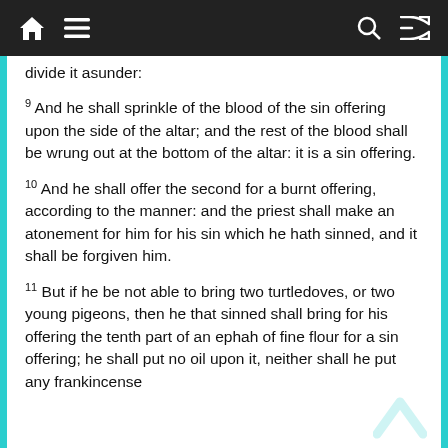🏠 ☰ (navigation) 🔍 🔀
divide it asunder:
9 And he shall sprinkle of the blood of the sin offering upon the side of the altar; and the rest of the blood shall be wrung out at the bottom of the altar: it is a sin offering.
10 And he shall offer the second for a burnt offering, according to the manner: and the priest shall make an atonement for him for his sin which he hath sinned, and it shall be forgiven him.
11 But if he be not able to bring two turtledoves, or two young pigeons, then he that sinned shall bring for his offering the tenth part of an ephah of fine flour for a sin offering; he shall put no oil upon it, neither shall he put any frankincense